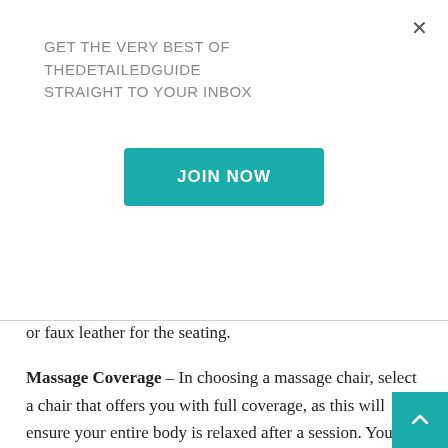GET THE VERY BEST OF THEDETAILEDGUIDE STRAIGHT TO YOUR INBOX
[Figure (other): Teal 'JOIN NOW' button]
or faux leather for the seating.
Massage Coverage – In choosing a massage chair, select a chair that offers you with full coverage, as this will ensure your entire body is relaxed after a session. You could pick a chair that has an added option of customisation to target particular parts of your body when you need it.
Massage Styles & Programs – Research on the massage styles and programs various brand use. Some chairs come with four, while others have five, six